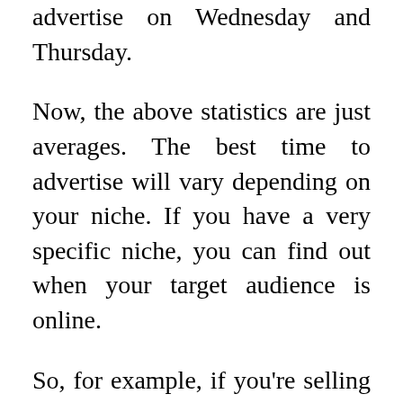advertise on Wednesday and Thursday.
Now, the above statistics are just averages. The best time to advertise will vary depending on your niche. If you have a very specific niche, you can find out when your target audience is online.
So, for example, if you're selling information about the history of video games, you might want to advertise on a Monday and Tuesday. However, if you're selling information about how to start a home business, you might